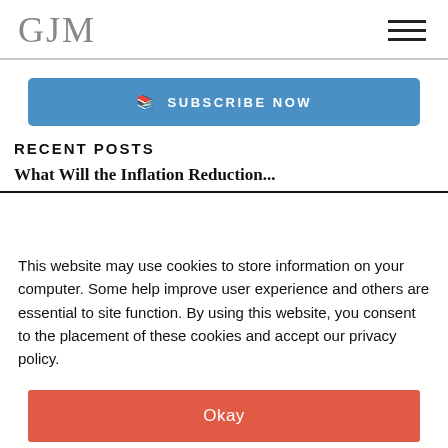GJM
[Figure (other): Blue subscribe now button with bookmark icon]
RECENT POSTS
This website may use cookies to store information on your computer. Some help improve user experience and others are essential to site function. By using this website, you consent to the placement of these cookies and accept our privacy policy.
[Figure (other): Okay button in red/coral color]